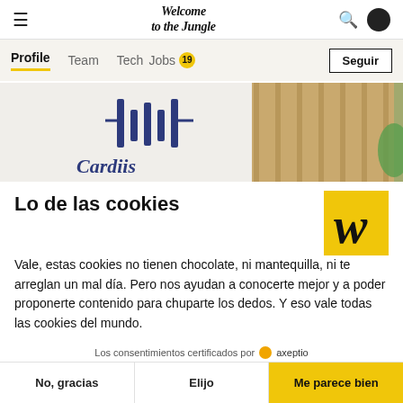Welcome to the Jungle — navigation header with hamburger menu, logo, search icon, profile icon
Profile  Team  Tech  Jobs 19  Seguir
[Figure (photo): Office interior photo showing the Cardiist company logo on a white wall with wooden slat partition and plants in background]
Lo de las cookies
Vale, estas cookies no tienen chocolate, ni mantequilla, ni te arreglan un mal día. Pero nos ayudan a conocerte mejor y a poder proponerte contenido para chuparte los dedos. Y eso vale todas las cookies del mundo.
Los consentimientos certificados por axeptio
No, gracias    Elijo    Me parece bien